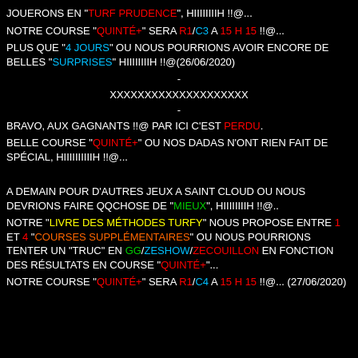JOUERONS EN "TURF PRUDENCE", HIIIIIIIIH !!@...
NOTRE COURSE "QUINTÉ+" SERA R1/C3 A 15 H 15 !!@...
PLUS QUE "4 JOURS" OU NOUS POURRIONS AVOIR ENCORE DE BELLES "SURPRISES" HIIIIIIIIH !!@(26/06/2020)
-
XXXXXXXXXXXXXXXXXXXX
-
BRAVO, AUX GAGNANTS !!@ PAR ICI C'EST PERDU.
BELLE COURSE "QUINTÉ+" OU NOS DADAS N'ONT RIEN FAIT DE SPÉCIAL, HIIIIIIIIIIH !!@...
A DEMAIN POUR D'AUTRES JEUX A SAINT CLOUD OU NOUS DEVRIONS FAIRE QQCHOSE DE "MIEUX", HIIIIIIIIH !!@..
NOTRE "LIVRE DES MÉTHODES TURFY" NOUS PROPOSE ENTRE 1 ET 4 "COURSES SUPPLÉMENTAIRES" OU NOUS POURRIONS TENTER UN "TRUC" EN GG/ZESHOW/ZECOUILLON EN FONCTION DES RÉSULTATS EN COURSE "QUINTÉ+"...
NOTRE COURSE "QUINTÉ+" SERA R1/C4 A 15 H 15 !!@... (27/06/2020)